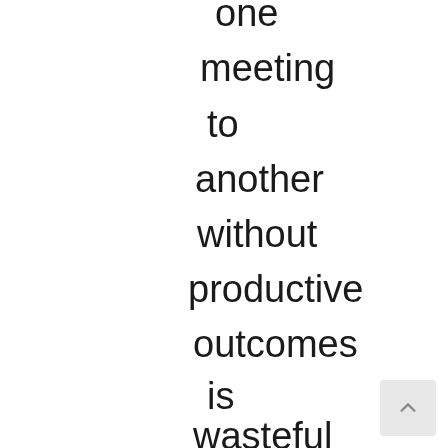one meeting to another without productive outcomes is wasteful